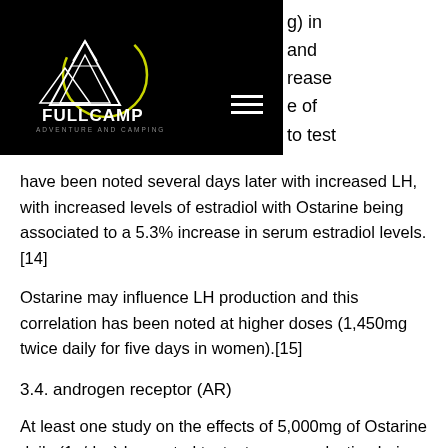[Figure (logo): Fullcamp Adventure and Camping logo — white mountain illustration with circular yellow/green arc, white text FULLCAMP in bold, subtitle ADVENTURE AND CAMPING]
g) in and rease e of o test ts have been noted several days later with increased LH, with increased levels of estradiol with Ostarine being associated to a 5.3% increase in serum estradiol levels.[14]
Ostarine may influence LH production and this correlation has been noted at higher doses (1,450mg twice daily for five days in women).[15]
3.4. androgen receptor (AR)
At least one study on the effects of 5,000mg of Ostarine daily (1g/day) has noted testosterone production being increased in